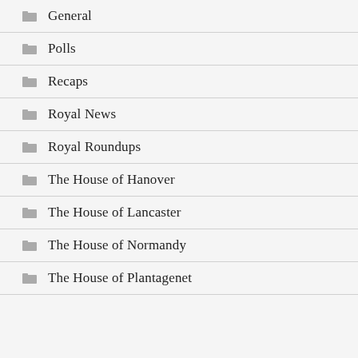General
Polls
Recaps
Royal News
Royal Roundups
The House of Hanover
The House of Lancaster
The House of Normandy
The House of Plantagenet